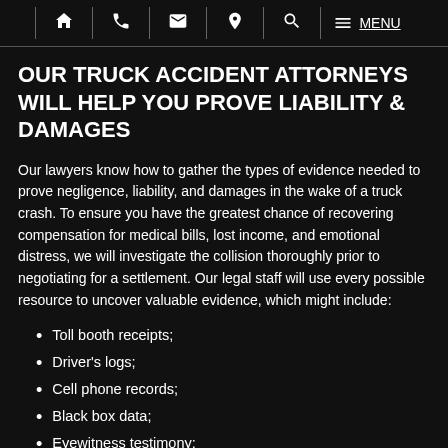Navigation bar with icons: home, phone, email, location, search, menu, MENU
OUR TRUCK ACCIDENT ATTORNEYS WILL HELP YOU PROVE LIABILITY & DAMAGES
Our lawyers know how to gather the types of evidence needed to prove negligence, liability, and damages in the wake of a truck crash. To ensure you have the greatest chance of recovering compensation for medical bills, lost income, and emotional distress, we will investigate the collision thoroughly prior to negotiating for a settlement. Our legal staff will use every possible resource to uncover valuable evidence, which might include:
Toll booth receipts;
Driver's logs;
Cell phone records;
Black box data;
Eyewitness testimony;